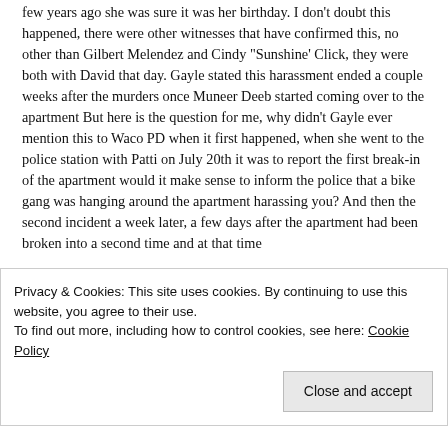few years ago she was sure it was her birthday. I don't doubt this happened, there were other witnesses that have confirmed this, no other than Gilbert Melendez and Cindy "Sunshine' Click, they were both with David that day. Gayle stated this harassment ended a couple weeks after the murders once Muneer Deeb started coming over to the apartment But here is the question for me, why didn't Gayle ever mention this to Waco PD when it first happened, when she went to the police station with Patti on July 20th it was to report the first break-in of the apartment would it make sense to inform the police that a bike gang was hanging around the apartment harassing you? And then the second incident a week later, a few days after the apartment had been broken into a second time and at that time
Privacy & Cookies: This site uses cookies. By continuing to use this website, you agree to their use.
To find out more, including how to control cookies, see here: Cookie Policy